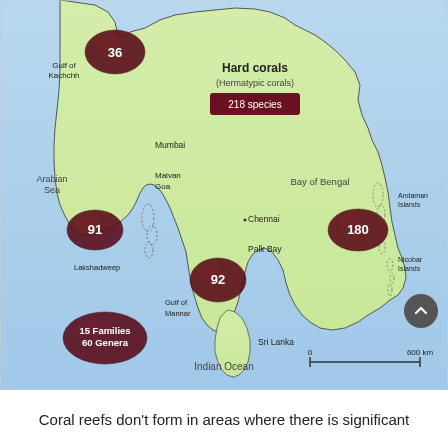[Figure (map): Map of India showing hard coral (Hermatypic corals) distribution across four reef areas: Gulf of Kachchh (36 species), Lakshadweep (91 species), Gulf of Mannar (92 species), and Andaman Islands area (180 species). Total: 218 species, 15 Families, 60 Genera. Map shows Indian subcontinent with Arabian Sea to the west, Bay of Bengal to the east, Indian Ocean to the south, and Sri Lanka and Andaman & Nicobar Islands labeled.]
Coral reefs don't form in areas where there is significant